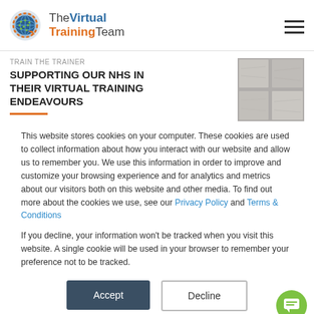[Figure (logo): The Virtual Training Team logo with globe icon]
TRAIN THE TRAINER
SUPPORTING OUR NHS IN THEIR VIRTUAL TRAINING ENDEAVOURS
[Figure (photo): Close-up photo of grey paving stones]
This website stores cookies on your computer. These cookies are used to collect information about how you interact with our website and allow us to remember you. We use this information in order to improve and customize your browsing experience and for analytics and metrics about our visitors both on this website and other media. To find out more about the cookies we use, see our Privacy Policy and Terms & Conditions
If you decline, your information won't be tracked when you visit this website. A single cookie will be used in your browser to remember your preference not to be tracked.
Accept
Decline